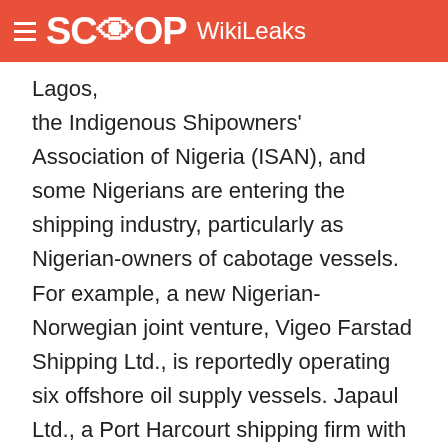SCOOP WikiLeaks
Lagos, the Indigenous Shipowners' Association of Nigeria (ISAN), and some Nigerians are entering the shipping industry, particularly as Nigerian-owners of cabotage vessels. For example, a new Nigerian-Norwegian joint venture, Vigeo Farstad Shipping Ltd., is reportedly operating six offshore oil supply vessels. Japaul Ltd., a Port Harcourt shipping firm with a reported 18 vessels, has announced it will attempt to raise capital for expansion by going public on the Nigerian Stock Exchange (NSE), a still novel but sound approach to capitalization as Nigerian bank interest rates remain high and loan maturities short.